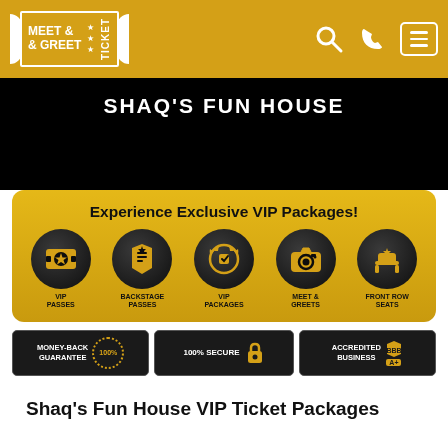Meet & Greet Ticket — navigation header with logo, search, phone, and menu icons
SHAQ'S FUN HOUSE
[Figure (infographic): VIP packages banner with gold background showing five dark circular icons: VIP Passes (ticket with star), Backstage Passes (badge), VIP Packages (wreath with ticket), Meet & Greets (camera), Front Row Seats (armchair). Title: Experience Exclusive VIP Packages!]
[Figure (infographic): Three dark trust badges in a row: Money-Back Guarantee (100% seal), 100% Secure (padlock icon), Accredited Business BBB A+]
Shaq's Fun House VIP Ticket Packages